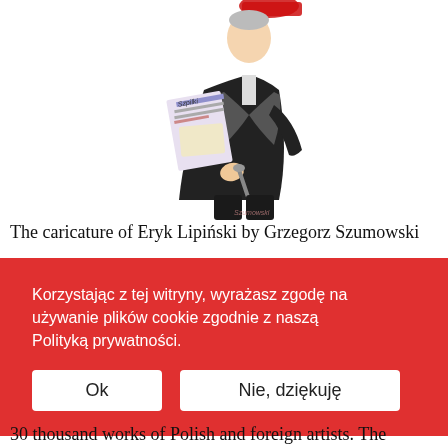[Figure (illustration): Caricature illustration of a person in a suit holding newspapers and a cane, with a red hat, by Grzegorz Szumowski. Signature visible at bottom of image.]
The caricature of Eryk Lipiński by Grzegorz Szumowski
Korzystając z tej witryny, wyrażasz zgodę na używanie plików cookie zgodnie z naszą Polityką prywatności.
Ok
Nie, dziękuję
30 thousand works of Polish and foreign artists. The